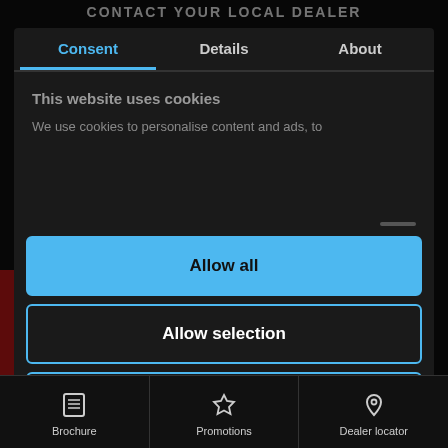CONTACT YOUR LOCAL DEALER
Consent | Details | About
This website uses cookies
We use cookies to personalise content and ads, to
Allow all
Allow selection
Deny
Brochure | Promotions | Dealer locator